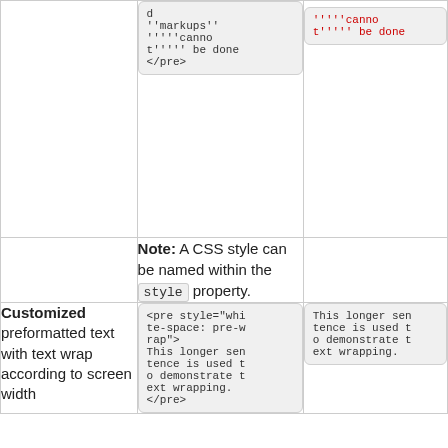|  | Code | Result |
| --- | --- | --- |
|  | d
''markups''
'''''cannot
t''''' be done
</pre> | '''''cannot
t''''' be done |
|  | Note: A CSS style can be named within the style property. |  |
| Customized preformatted text with text wrap according to screen width | <pre style="white-space: pre-wrap">
This longer sentence is used to demonstrate text wrapping.
</pre> | This longer sentence is used to demonstrate text wrapping. |